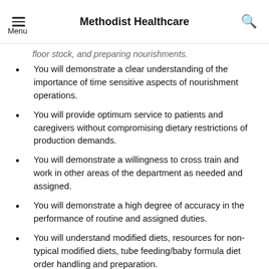Methodist Healthcare
floor stock, and preparing nourishments.
You will demonstrate a clear understanding of the importance of time sensitive aspects of nourishment operations.
You will provide optimum service to patients and caregivers without compromising dietary restrictions of production demands.
You will demonstrate a willingness to cross train and work in other areas of the department as needed and assigned.
You will demonstrate a high degree of accuracy in the performance of routine and assigned duties.
You will understand modified diets, resources for non-typical modified diets, tube feeding/baby formula diet order handling and preparation.